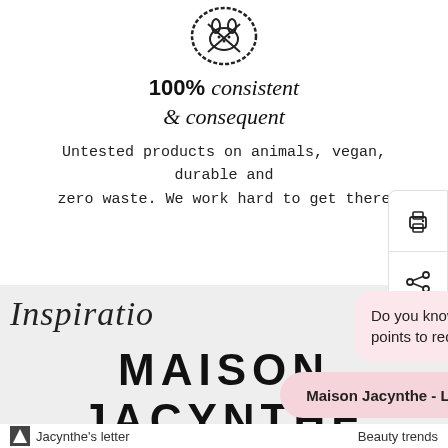[Figure (logo): Circular badge/icon with animal illustration (cruelty-free logo)]
100% consistent & consequent
Untested products on animals, vegan, durable and zero waste. We work hard to get there
[Figure (screenshot): Toolbar with print and share icons on the right side]
Inspiratio
MAISON JACYNTHE
Do you know that you can earn points to redeem your rewards?
Maison Jacynthe - Loyalty program
Jacynthe's letter
Beauty trends